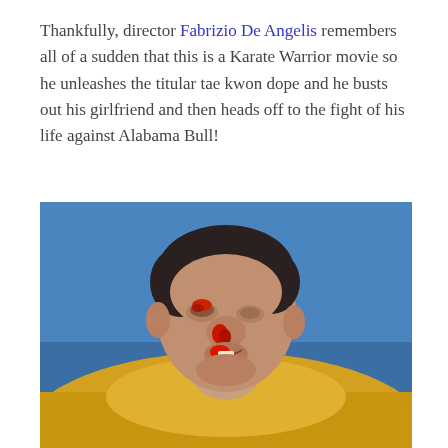Thankfully, director Fabrizio De Angelis remembers all of a sudden that this is a Karate Warrior movie so he unleashes the titular tae kwon dope and he busts out his girlfriend and then heads off to the fight of his life against Alabama Bull!
[Figure (photo): Close-up photo of a man with a bloody nose and bleeding face, wearing a yellow jacket, lying against a blue background. He appears to be a character from a Karate Warrior movie after a fight.]